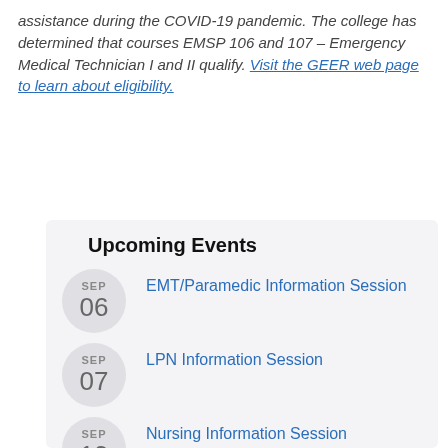assistance during the COVID-19 pandemic. The college has determined that courses EMSP 106 and 107 – Emergency Medical Technician I and II qualify. Visit the GEER web page to learn about eligibility.
Upcoming Events
SEP 06 – EMT/Paramedic Information Session
SEP 07 – LPN Information Session
SEP 13 – Nursing Information Session
SEP 13 – Cardiovascular Technology Information Session